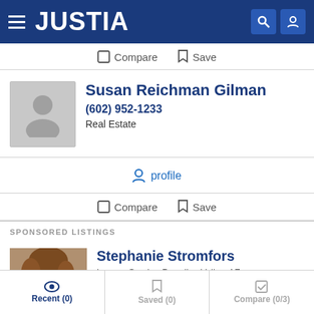JUSTIA
Compare   Save
Susan Reichman Gilman
(602) 952-1233
Real Estate
profile
Compare   Save
SPONSORED LISTINGS
Stephanie Stromfors
Lawyer Serving Paradise Valley, AZ
Recent (0)   Saved (0)   Compare (0/3)